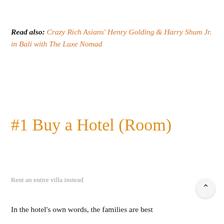Read also: Crazy Rich Asians' Henry Golding & Harry Shum Jr. in Bali with The Luxe Nomad
#1 Buy a Hotel (Room)
Rent an entire villa instead
In the hotel's own words, the families are best